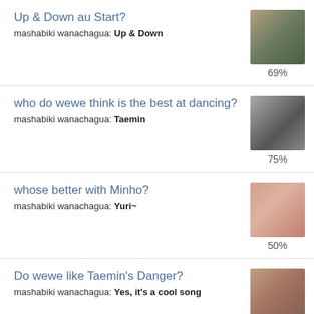Up & Down au Start?
mashabiki wanachagua: Up & Down
69%
who do wewe think is the best at dancing?
mashabiki wanachagua: Taemin
75%
whose better with Minho?
mashabiki wanachagua: Yuri~
50%
Do wewe like Taemin's Danger?
mashabiki wanachagua: Yes, it's a cool song
82%
Which Everybody song?
mashabiki wanachagua: Everybody